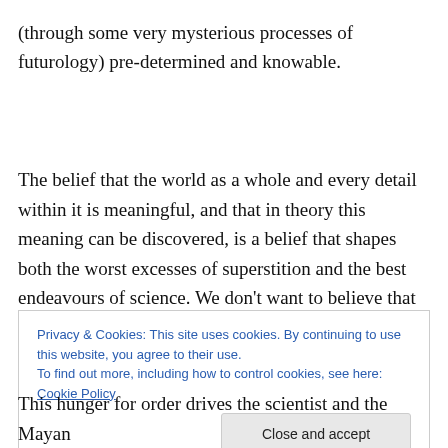(through some very mysterious processes of futurology) pre-determined and knowable.
The belief that the world as a whole and every detail within it is meaningful, and that in theory this meaning can be discovered, is a belief that shapes both the worst excesses of superstition and the best endeavours of science. We don't want to believe that everything is simply
Privacy & Cookies: This site uses cookies. By continuing to use this website, you agree to their use.
To find out more, including how to control cookies, see here: Cookie Policy
This hunger for order drives the scientist and the Mayan